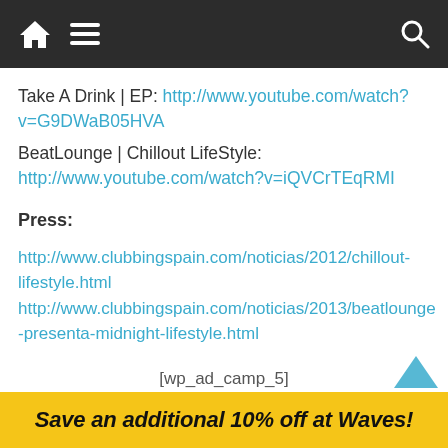Navigation bar with home, menu, and search icons
Take A Drink | EP: http://www.youtube.com/watch?v=G9DWaB05HVA
BeatLounge | Chillout LifeStyle: http://www.youtube.com/watch?v=iQVCrTEqRMI
Press:
http://www.clubbingspain.com/noticias/2012/chillout-lifestyle.html
http://www.clubbingspain.com/noticias/2013/beatlounge-presenta-midnight-lifestyle.html
[wp_ad_camp_5]
[wp_ad_camp_4]
Save an additional 10% off at Waves!